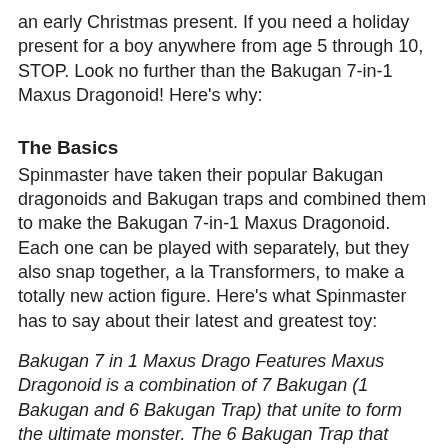an early Christmas present. If you need a holiday present for a boy anywhere from age 5 through 10, STOP. Look no further than the Bakugan 7-in-1 Maxus Dragonoid! Here's why:
The Basics
Spinmaster have taken their popular Bakugan dragonoids and Bakugan traps and combined them to make the Bakugan 7-in-1 Maxus Dragonoid. Each one can be played with separately, but they also snap together, a la Transformers, to make a totally new action figure. Here's what Spinmaster has to say about their latest and greatest toy:
Bakugan 7 in 1 Maxus Drago Features Maxus Dragonoid is a combination of 7 Bakugan (1 Bakugan and 6 Bakugan Trap) that unite to form the ultimate monster. The 6 Bakugan Trap that make up Maxus Dragonoid are unique to the Maxus Dragonoid monster and cannot be found in any other Bakugan products. Comes with Grakas Hound, Dark Hound, Grafias, Brachium, Spitarm, SpyderFencer & Neo